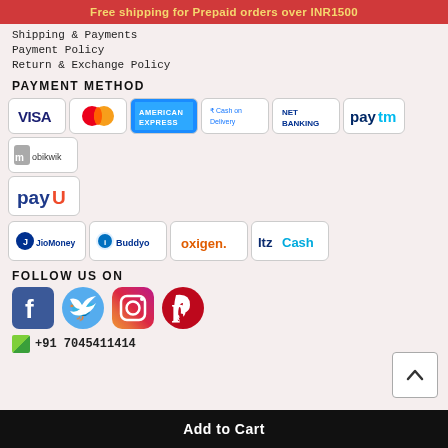Free shipping for Prepaid orders over INR1500
Shipping & Payments
Payment Policy
Return & Exchange Policy
PAYMENT METHOD
[Figure (logo): Payment method logos: VISA, MasterCard, American Express, Cash on Delivery, NET BANKING, Paytm, Mobikwik, PayU, JioMoney, Buddyo, Oxigen, ItzCash]
FOLLOW US ON
[Figure (logo): Social media icons: Facebook, Twitter, Instagram, Pinterest]
+91 7045411414
Add to Cart